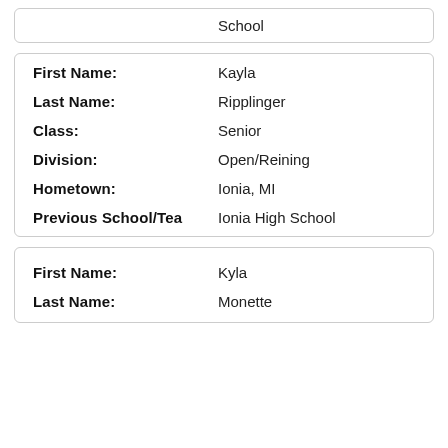| Field | Value |
| --- | --- |
| School |  |
| Field | Value |
| --- | --- |
| First Name: | Kayla |
| Last Name: | Ripplinger |
| Class: | Senior |
| Division: | Open/Reining |
| Hometown: | Ionia, MI |
| Previous School/Tea | Ionia High School |
| Field | Value |
| --- | --- |
| First Name: | Kyla |
| Last Name: | Monette |